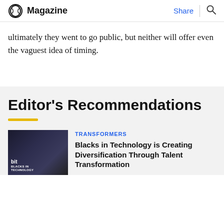Magazine | Share
ultimately they went to go public, but neither will offer even the vaguest idea of timing.
Editor's Recommendations
TRANSFORMERS
Blacks in Technology is Creating Diversification Through Talent Transformation